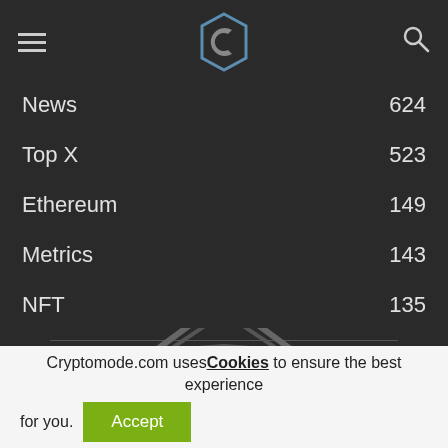CryptoMode navigation header with logo, hamburger menu, and search icon
News 624
Top X 523
Ethereum 149
Metrics 143
NFT 135
Finance 114
[Figure (logo): CryptoMode watermark logo partially visible at bottom of dark section]
Cryptomode.com uses Cookies to ensure the best experience for you. Accept